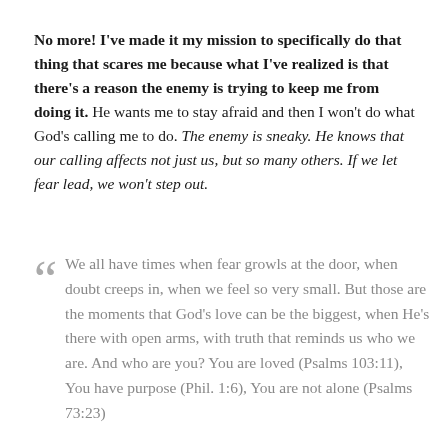No more! I've made it my mission to specifically do that thing that scares me because what I've realized is that there's a reason the enemy is trying to keep me from doing it. He wants me to stay afraid and then I won't do what God's calling me to do. The enemy is sneaky. He knows that our calling affects not just us, but so many others. If we let fear lead, we won't step out.
We all have times when fear growls at the door, when doubt creeps in, when we feel so very small. But those are the moments that God's love can be the biggest, when He's there with open arms, with truth that reminds us who we are. And who are you? You are loved (Psalms 103:11), You have purpose (Phil. 1:6), You are not alone (Psalms 73:23)